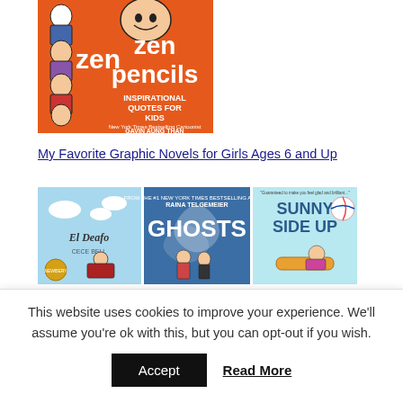[Figure (illustration): Zen Pencils: Inspirational Quotes for Kids book cover by Gavin Aung Than - orange cover with cartoon characters]
My Favorite Graphic Novels for Girls Ages 6 and Up
[Figure (illustration): Three graphic novel book covers: El Deafo, Ghosts (by Raina Telgemeier), and Sunny Side Up]
This website uses cookies to improve your experience. We'll assume you're ok with this, but you can opt-out if you wish.
Accept   Read More